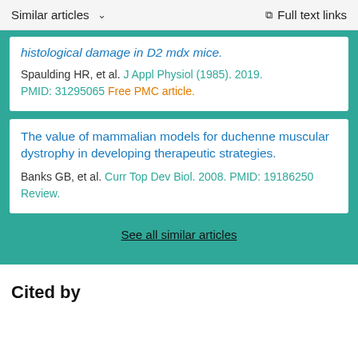Similar articles    Full text links
histological damage in D2 mdx mice.
Spaulding HR, et al. J Appl Physiol (1985). 2019. PMID: 31295065 Free PMC article.
The value of mammalian models for duchenne muscular dystrophy in developing therapeutic strategies.
Banks GB, et al. Curr Top Dev Biol. 2008. PMID: 19186250 Review.
See all similar articles
Cited by